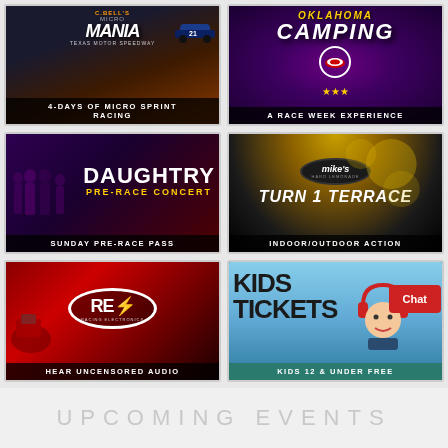[Figure (illustration): C.Bell's Micro Mania – 4-Days of Micro Sprint Racing card at Texas Motor Speedway]
[Figure (illustration): Camping – A Race Week Experience promotional card]
[Figure (illustration): Daughtry Pre-Race Concert – Sunday Pre-Race Pass promotional card]
[Figure (illustration): Mike's Hard Lemonade Turn 1 Terrace – Indoor/Outdoor Action promotional card]
[Figure (illustration): REO Racing Electronics – Hear Uncensored Audio promotional card]
[Figure (illustration): Kids Tickets – Kids 12 & Under Free promotional card]
Chat
UPCOMING EVENTS